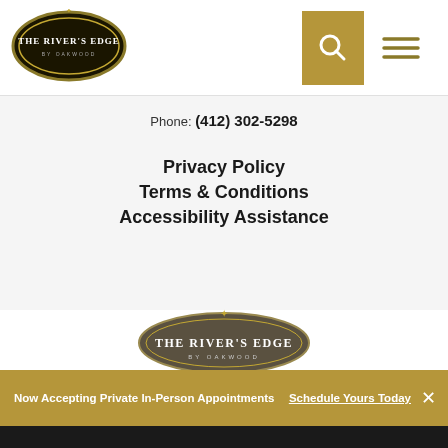[Figure (logo): The River's Edge oval logo with dark background and gold border, top left navigation bar]
Phone: (412) 302-5298
Privacy Policy
Terms & Conditions
Accessibility Assistance
[Figure (logo): The River's Edge oval logo centered on white background]
[Figure (other): Facebook and Instagram social media icons]
Now Accepting Private In-Person Appointments   Schedule Yours Today
Get Fast Answers!
[Figure (other): Call, Email, Text contact icons in black footer bar]